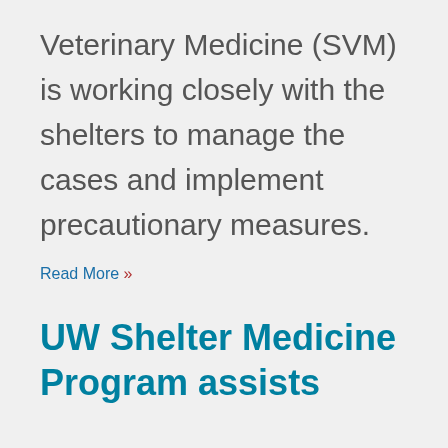Veterinary Medicine (SVM) is working closely with the shelters to manage the cases and implement precautionary measures.
Read More »
UW Shelter Medicine Program assists